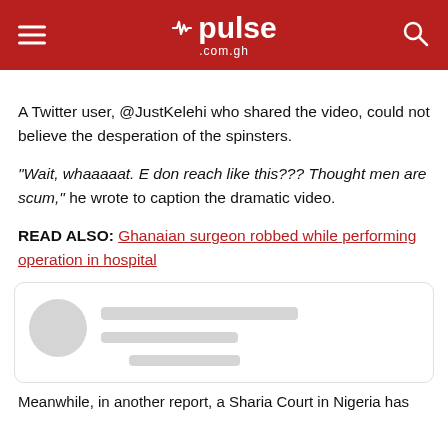pulse .com.gh
A Twitter user, @JustKelehi who shared the video, could not believe the desperation of the spinsters.
"Wait, whaaaaat. E don reach like this??? Thought men are scum," he wrote to caption the dramatic video.
READ ALSO: Ghanaian surgeon robbed while performing operation in hospital
[Figure (screenshot): Placeholder tweet card with avatar circle and grey lines representing text]
Meanwhile, in another report, a Sharia Court in Nigeria has